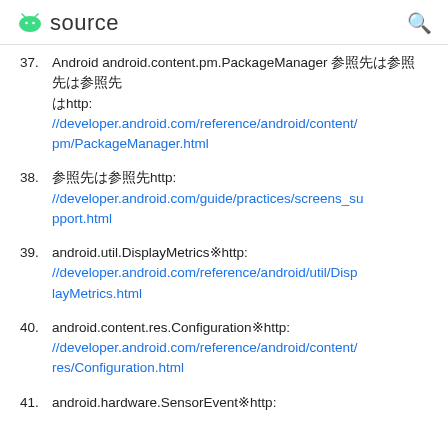source
37. Android android.content.pm.PackageManager 参照先http://developer.android.com/reference/android/content/pm/PackageManager.html
38. 参照先http://developer.android.com/guide/practices/screens_support.html
39. android.util.DisplayMetrics参照http://developer.android.com/reference/android/util/DisplayMetrics.html
40. android.content.res.Configuration参照http://developer.android.com/reference/android/content/res/Configuration.html
41. android.hardware.SensorEvent参照http: